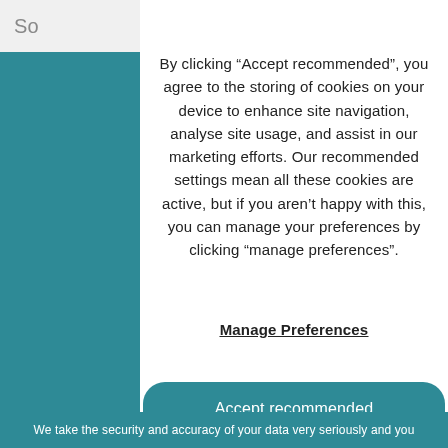So
By clicking “Accept recommended”, you agree to the storing of cookies on your device to enhance site navigation, analyse site usage, and assist in our marketing efforts. Our recommended settings mean all these cookies are active, but if you aren’t happy with this, you can manage your preferences by clicking “manage preferences”.
Manage Preferences
Accept recommended
We take the security and accuracy of your data very seriously and you